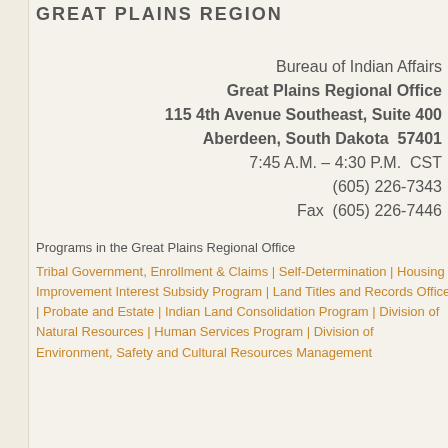GREAT PLAINS REGION
Bureau of Indian Affairs
Great Plains Regional Office
115 4th Avenue Southeast, Suite 400
Aberdeen, South Dakota  57401
7:45 A.M. – 4:30 P.M.  CST
(605) 226-7343
Fax  (605) 226-7446
Programs in the Great Plains Regional Office
Tribal Government, Enrollment & Claims | Self-Determination | Housing Improvement Interest Subsidy Program | Land Titles and Records Office | Probate and Estate | Indian Land Consolidation Program | Division of Natural Resources | Human Services Program | Division of Environment, Safety and Cultural Resources Management